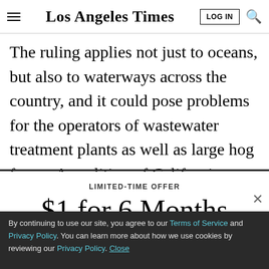Los Angeles Times
The ruling applies not just to oceans, but also to waterways across the country, and it could pose problems for the operators of wastewater treatment plants as well as large hog farms. A coalition of California water agencies had urged the court to reverse
LIMITED-TIME OFFER
$1 for 6 Months
SUBSCRIBE NOW
By continuing to use our site, you agree to our Terms of Service and Privacy Policy. You can learn more about how we use cookies by reviewing our Privacy Policy. Close